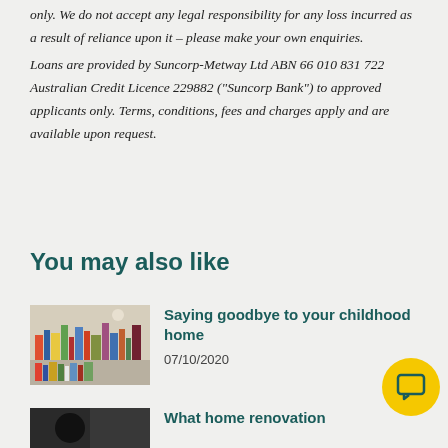only. We do not accept any legal responsibility for any loss incurred as a result of reliance upon it – please make your own enquiries. Loans are provided by Suncorp-Metway Ltd ABN 66 010 831 722 Australian Credit Licence 229882 ("Suncorp Bank") to approved applicants only. Terms, conditions, fees and charges apply and are available upon request.
You may also like
[Figure (photo): Photo of bookshelves with books and decorative items]
Saying goodbye to your childhood home
07/10/2020
[Figure (photo): Dark photo, partially visible]
What home renovation